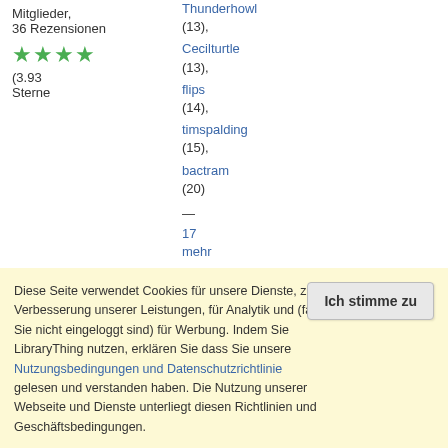Mitglieder, 36 Rezensionen
Thunderhowl (13),
Cecilturtle (13),
flips (14),
timspalding (15),
bactram (20)
— 17 mehr
Bewertung: 52.31
Diese Seite verwendet Cookies für unsere Dienste, zur Verbesserung unserer Leistungen, für Analytik und (falls Sie nicht eingeloggt sind) für Werbung. Indem Sie LibraryThing nutzen, erklären Sie dass Sie unsere Nutzungsbedingungen und Datenschutzrichtlinie gelesen und verstanden haben. Die Nutzung unserer Webseite und Dienste unterliegt diesen Richtlinien und Geschäftsbedingungen.